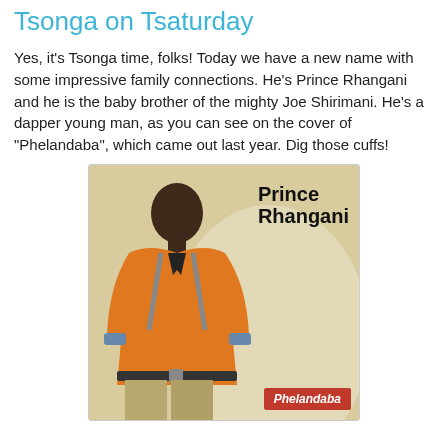Tsonga on Tsaturday
Yes, it's Tsonga time, folks! Today we have a new name with some impressive family connections. He's Prince Rhangani and he is the baby brother of the mighty Joe Shirimani. He's a dapper young man, as you can see on the cover of "Phelandaba", which came out last year. Dig those cuffs!
[Figure (photo): Album cover of 'Phelandaba' by Prince Rhangani, showing a young man in an orange shirt with checkered cuffs, wearing khaki trousers and a belt, posed against a light background. The name 'Prince Rhangani' appears in bold black text top-right, and a red label reads 'Phelandaba' at the bottom right.]